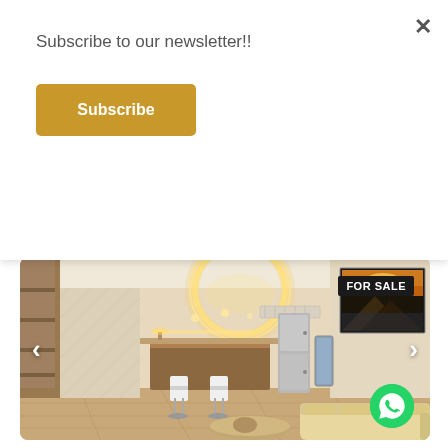Subscribe to our newsletter!!
Subscribe
AED 1,775,000   🛏 1  🚿 2  📐 858
[Figure (photo): Interior photo of a modern apartment living area with open kitchen, circular ceiling light fixture, beige sofa, bar stools, and a landscape painting on the wall. 'FOR SALE' badge in top right corner. Navigation arrows on left and right sides. WhatsApp button bottom right.]